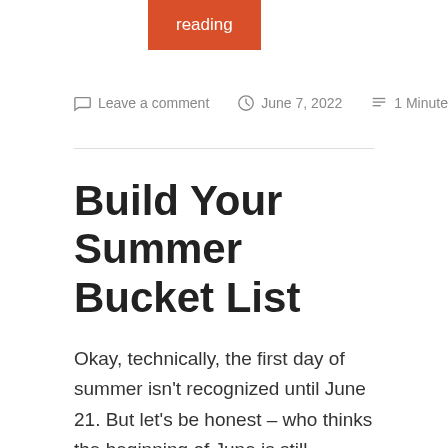reading
Leave a comment   June 7, 2022   1 Minute
Build Your Summer Bucket List
Okay, technically, the first day of summer isn't recognized until June 21. But let's be honest – who thinks the beginning of June is still spring? If you're like us and have summer on your mind, you're probably also thinking about all the things you've been